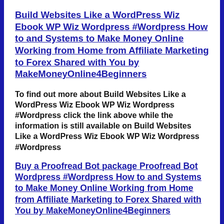Build Websites Like a WordPress Wiz Ebook WP Wiz Wordpress #Wordpress How to and Systems to Make Money Online Working from Home from Affiliate Marketing to Forex Shared with You by MakeMoneyOnline4Beginners
To find out more about Build Websites Like a WordPress Wiz Ebook WP Wiz Wordpress #Wordpress click the link above while the information is still available on Build Websites Like a WordPress Wiz Ebook WP Wiz Wordpress #Wordpress
Buy a Proofread Bot package Proofread Bot Wordpress #Wordpress How to and Systems to Make Money Online Working from Home from Affiliate Marketing to Forex Shared with You by MakeMoneyOnline4Beginners
Pro 500 000 words 45$ 0.007 cent / word (Best Value) 500 000 words Intermediate 250 000 words 35$ 0.008 cent / word 250 000 words Basic 50 000 words 15$ 0.01 cent / word 50 000 words Your purchase will be credited